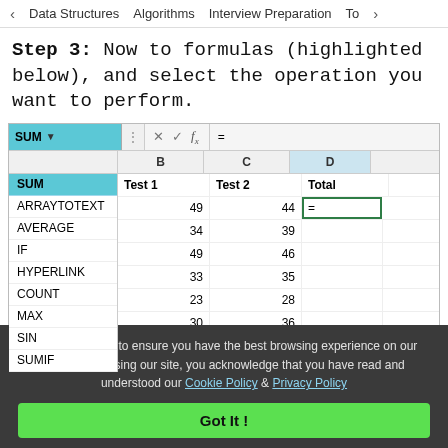< Data Structures   Algorithms   Interview Preparation   Top>
Step 3: Now to formulas (highlighted below), and select the operation you want to perform.
[Figure (screenshot): Excel-like spreadsheet showing a function autocomplete dropdown with SUM selected, and columns B (Test 1), C (Test 2), D (Total) with data rows: 49/44, 34/39, 49/46, 33/35, 23/28, 30/36. Cell D2 is selected showing '=' in the cell with a green border.]
We use cookies to ensure you have the best browsing experience on our website. By using our site, you acknowledge that you have read and understood our Cookie Policy & Privacy Policy
Got It !